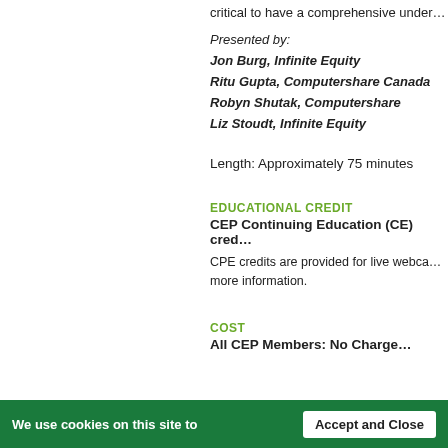critical to have a comprehensive under…
Presented by:
Jon Burg, Infinite Equity
Ritu Gupta, Computershare Canada
Robyn Shutak, Computershare
Liz Stoudt, Infinite Equity
Length: Approximately 75 minutes
EDUCATIONAL CREDIT
CEP Continuing Education (CE) cred…
CPE credits are provided for live webca… more information.
COST
All CEP Members: No Charge…
We use cookies on this site to